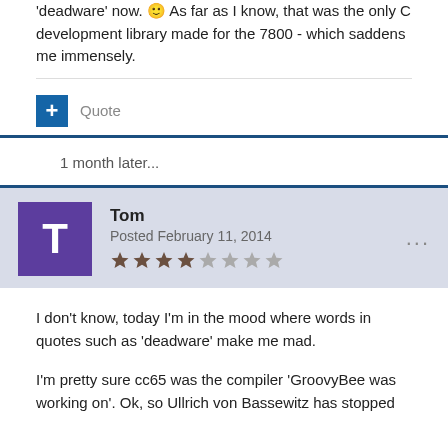'deadware' now. 🙂 As far as I know, that was the only C development library made for the 7800 - which saddens me immensely.
Quote
1 month later...
Tom
Posted February 11, 2014
I don't know, today I'm in the mood where words in quotes such as 'deadware' make me mad.
I'm pretty sure cc65 was the compiler 'GroovyBee was working on'. Ok, so Ullrich von Bassewitz has stopped